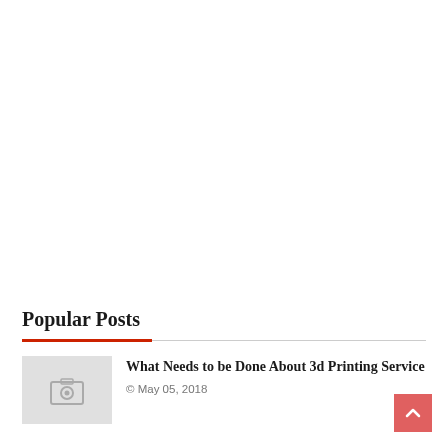Popular Posts
[Figure (photo): Placeholder thumbnail image with camera icon]
What Needs to be Done About 3d Printing Service
© May 05, 2018